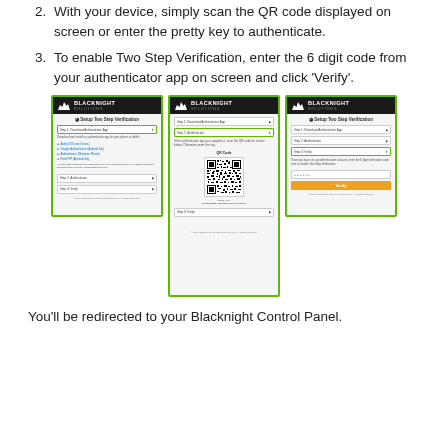2. With your device, simply scan the QR code displayed on screen or enter the pretty key to authenticate.
3. To enable Two Step Verification, enter the 6 digit code from your authenticator app on screen and click ‘Verify’.
[Figure (screenshot): Three screenshots of Blacknight Solutions Two Step Verification setup screens: first showing Step 1 download authenticator app with bullet list of apps; second showing QR code and pretty key for scanning; third showing the Verify button and code entry field.]
You’ll be redirected to your Blacknight Control Panel.